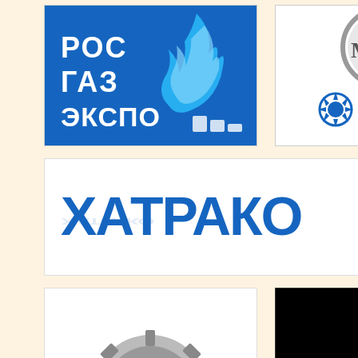[Figure (logo): РОС ГАЗ ЭКСПО logo - blue background with white Cyrillic text and gas flame icon]
[Figure (logo): MAN logo with MAN text in metallic circle and МТ-ГРУПП blue gear logo below]
[Figure (logo): ХАТРАКО logo - large blue Cyrillic text with pipe fitting icons]
[Figure (logo): ТМ МАШ logo - gear/cog icon with green base and grey text]
[Figure (photo): Black rectangle/redacted area]
[Figure (photo): Magazine cover - Турбины (Turbiny) magazine No.2 2021 with industrial power plant photo]
#1 (January-Fe...